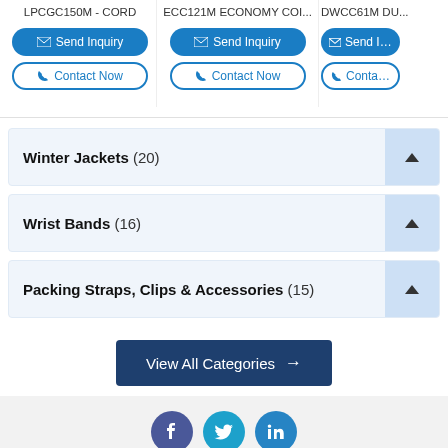LPCGC150M - CORD
ECC121M ECONOMY COI...
DWCC61M DU...
Winter Jackets (20)
Wrist Bands (16)
Packing Straps, Clips & Accessories (15)
View All Categories →
[Figure (illustration): Social media icons: Facebook, Twitter, LinkedIn]